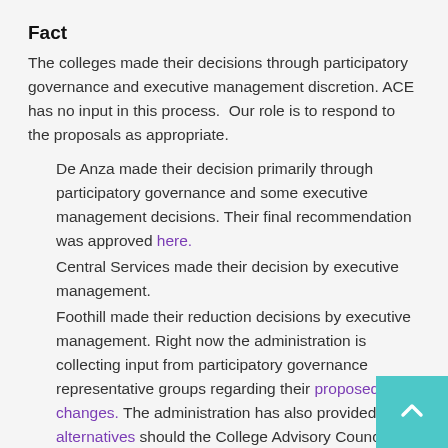Fact
The colleges made their decisions through participatory governance and executive management discretion. ACE has no input in this process.  Our role is to respond to the proposals as appropriate.
De Anza made their decision primarily through participatory governance and some executive management decisions. Their final recommendation was approved here.
Central Services made their decision by executive management.
Foothill made their reduction decisions by executive management. Right now the administration is collecting input from participatory governance representative groups regarding their proposed changes. The administration has also provided alternatives should the College Advisory Council reject the proposed changes which could alter who is